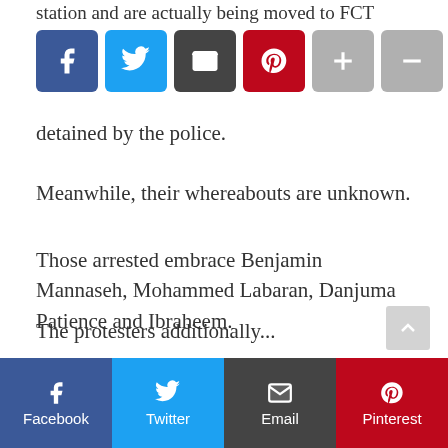station and are actually being moved to FCT police
[Figure (other): Social share buttons row: Facebook (blue), Twitter (light blue), Email (dark grey), Pinterest (red), plus (grey), minus (grey)]
detained by the police.
Meanwhile, their whereabouts are unknown.
Those arrested embrace Benjamin Mannaseh, Mohammed Labaran, Danjuma Patience and Ibraheem.
Displaying placards that say ‘Buhari Must Go’ and chanting the identical factor, the protesters blocked the Nnamdi Azikiwe International Airport Road early Friday morning.
The protesters additionally...
[Figure (other): Bottom social share bar: Facebook (dark blue), Twitter (light blue), Email (dark grey), Pinterest (red), each with icon and label]